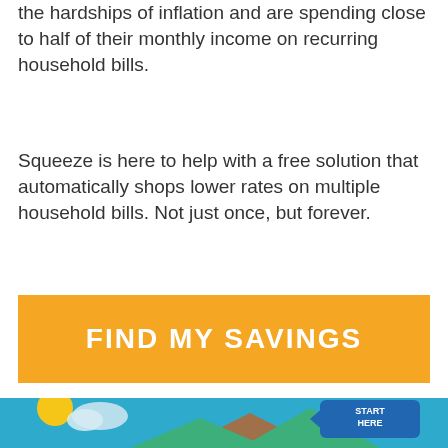the hardships of inflation and are spending close to half of their monthly income on recurring household bills.
Squeeze is here to help with a free solution that automatically shops lower rates on multiple household bills. Not just once, but forever.
FIND MY SAVINGS
[Figure (illustration): Illustrated map titled 'My Journey to Financial Freedom' with a blue background showing a landscape with mountains, a sun, clouds, numbered steps, and a blue arrow sticker saying 'START HERE'.]